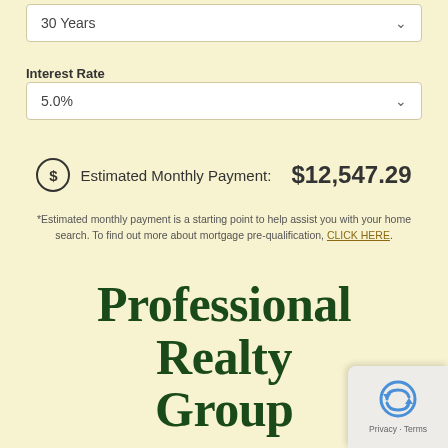30 Years
Interest Rate
5.0%
Estimated Monthly Payment: $12,547.29
*Estimated monthly payment is a starting point to help assist you with your home search. To find out more about mortgage pre-qualification, CLICK HERE.
Professional Realty Group Inc